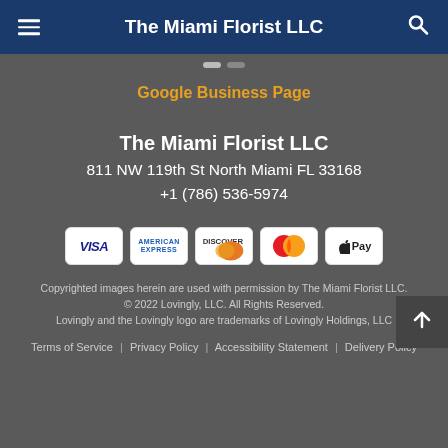The Miami Florist LLC
Google Business Page
The Miami Florist LLC
811 NW 119th St North Miami FL 33168
+1 (786) 536-5974
[Figure (other): Payment method icons: Visa, American Express, Discover, Mastercard, Apple Pay]
Copyrighted images herein are used with permission by The Miami Florist LLC.
© 2022 Lovingly, LLC. All Rights Reserved.
Lovingly and the Lovingly logo are trademarks of Lovingly Holdings, LLC
Terms of Service | Privacy Policy | Accessibility Statement | Delivery Policy